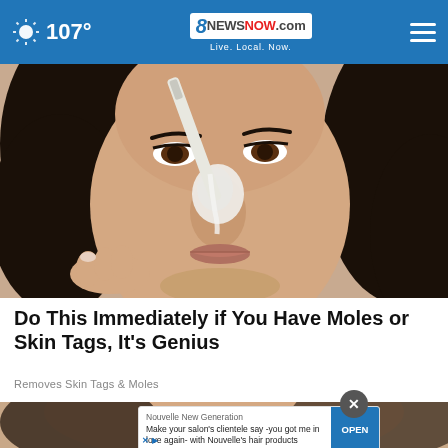107° 8NewsNow.com Live. Local. Now.
[Figure (photo): Close-up photo of a woman applying a white substance to her nose area with a brush or applicator tool. She has dark curly hair, brown eyes, and light-colored fingernails.]
Do This Immediately if You Have Moles or Skin Tags, It's Genius
Removes Skin Tags & Moles
[Figure (photo): Partial photo of a person's face, used as background for an advertisement overlay.]
Nouvelle New Generation
Make your salon's clientele say -you got me in love again- with Nouvelle's hair products
OPEN